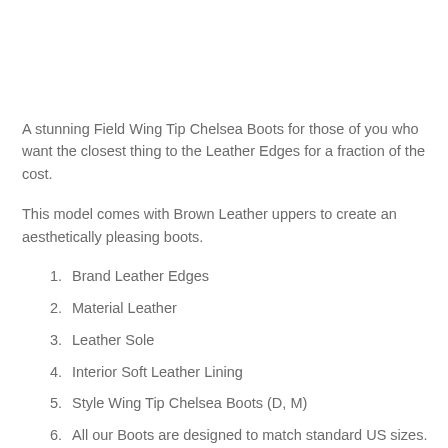A stunning Field Wing Tip Chelsea Boots for those of you who want the closest thing to the Leather Edges for a fraction of the cost.
This model comes with Brown Leather uppers to create an aesthetically pleasing boots.
Brand Leather Edges
Material Leather
Leather Sole
Interior Soft Leather Lining
Style Wing Tip Chelsea Boots (D, M)
All our Boots are designed to match standard US sizes. Due to the attention to the...